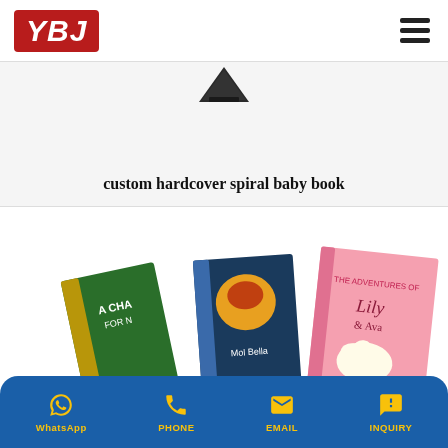YBJ
[Figure (photo): Partial view of a book corner from above]
custom hardcover spiral baby book
[Figure (photo): Three colorful children's hardcover books fanned out: 'A Chance for Nina', 'Molly Bella', and 'The Adventures of Lily & Ava']
WhatsApp  PHONE  EMAIL  INQUIRY